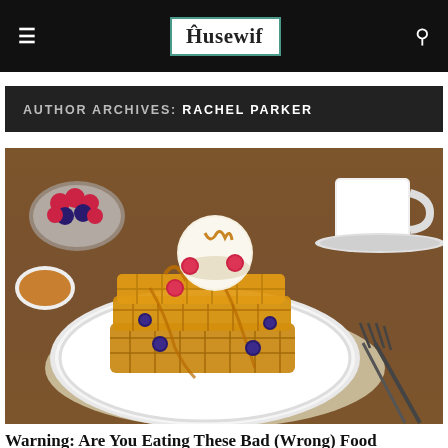≡  Husewif  🔍
AUTHOR ARCHIVES: RACHEL PARKER
[Figure (photo): Stack of waffles topped with ice cream, caramel drizzle, raspberries and blueberries on a white decorative plate, with a bowl of mixed berries and a white coffee cup in the background, fork visible on right side, rustic wooden table setting]
Warning: Are You Eating These Bad (Wrong) Food